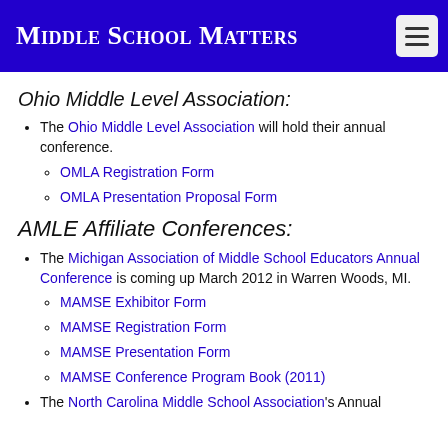Middle School Matters
Ohio Middle Level Association:
The Ohio Middle Level Association will hold their annual conference.
OMLA Registration Form
OMLA Presentation Proposal Form
AMLE Affiliate Conferences:
The Michigan Association of Middle School Educators Annual Conference is coming up March 2012 in Warren Woods, MI.
MAMSE Exhibitor Form
MAMSE Registration Form
MAMSE Presentation Form
MAMSE Conference Program Book (2011)
The North Carolina Middle School Association's Annual